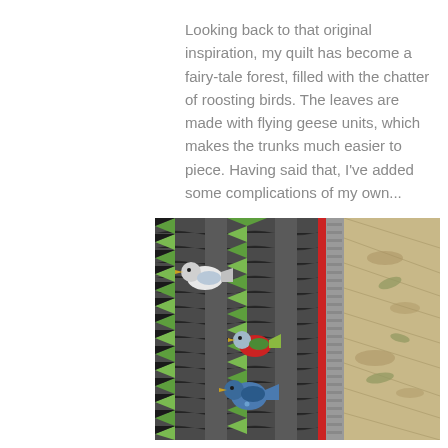Looking back to that original inspiration, my quilt has become a fairy-tale forest, filled with the chatter of roosting birds. The leaves are made with flying geese units, which makes the trunks much easier to piece. Having said that, I've added some complications of my own...
[Figure (photo): Close-up photograph of a quilt with a forest/tree design featuring green flying geese triangles, dark charcoal background fabric, and appliquéd birds (one with a red body patch and one blue patterned bird), with a red binding strip and wooden surface visible on the right side.]